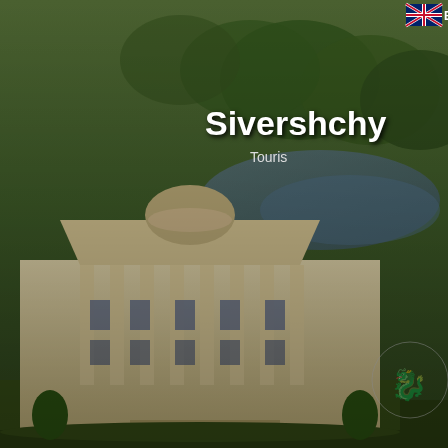[Figure (screenshot): Website header banner showing a neoclassical palace building on the left, aerial view of river and forest in background, site title 'Sivershchy' and subtitle 'Touris' on right, Cyrillic text 'Почнемъ же,' in green italic at bottom right, UK flag icon top right]
Sivershchy | Touris
Почнемъ же,
[Figure (logo): UK flag (Union Jack) icon in top right corner with 'E' text next to it]
Home   Towns & districts   Historical estates and par
[Figure (screenshot): Search bar with white input field and magnifying glass search button]
Categories
Hotels of Chernihiv region
Holiday camps
Health resorts
Rural Green Tourism
Cafe, bars, restaurants
Clubs, discos
Home
[Figure (photo): Two photos side by side: left shows an Orthodox church with golden domes surrounded by bare trees; right shows a white classical archway/gate structure against blue sky]
Ukraine can boast of hospitable n